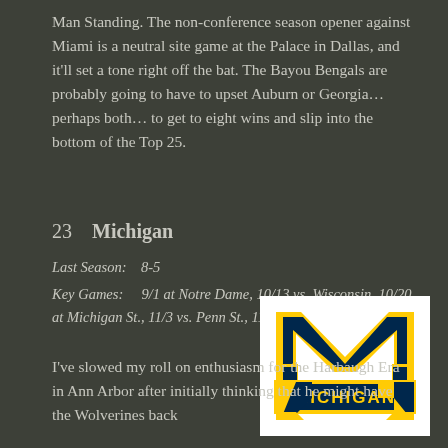Man Standing. The non-conference season opener against Miami is a neutral site game at the Palace in Dallas, and it'll set a tone right off the bat. The Bayou Bengals are probably going to have to upset Auburn or Georgia…perhaps both… to get to eight wins and slip into the bottom of the Top 25.
23    Michigan
Last Season:    8-5
Key Games:     9/1 at Notre Dame, 10/13 vs. Wisconsin, 10/20 at Michigan St., 11/3 vs. Penn St., 11/24 at Ohio St.
[Figure (logo): Michigan Wolverines logo — block M in navy blue with maize yellow border, 'MICHIGAN' text banner in maize on navy]
I've slowed my roll on enthusiasm for the Harbaugh Era in Ann Arbor after initially thinking that he might have the Wolverines back